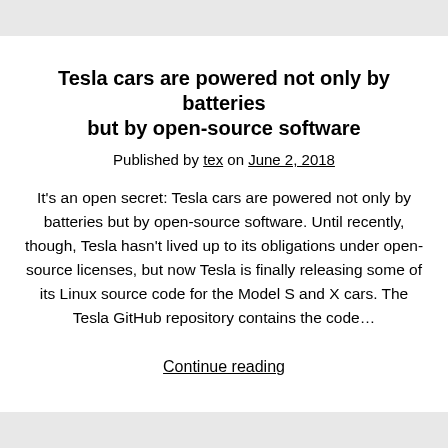Tesla cars are powered not only by batteries but by open-source software
Published by tex on June 2, 2018
It's an open secret: Tesla cars are powered not only by batteries but by open-source software. Until recently, though, Tesla hasn't lived up to its obligations under open-source licenses, but now Tesla is finally releasing some of its Linux source code for the Model S and X cars. The Tesla GitHub repository contains the code…
Continue reading